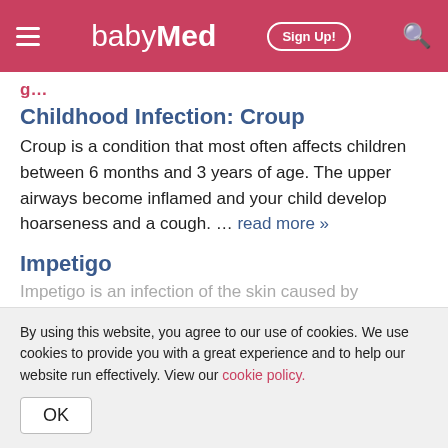babyMed — Sign Up! [navigation header]
Childhood Infection: Croup
Croup is a condition that most often affects children between 6 months and 3 years of age. The upper airways become inflamed and your child develop hoarseness and a cough. … read more »
Impetigo
Impetigo is an infection of the skin caused by
By using this website, you agree to our use of cookies. We use cookies to provide you with a great experience and to help our website run effectively. View our cookie policy.
OK